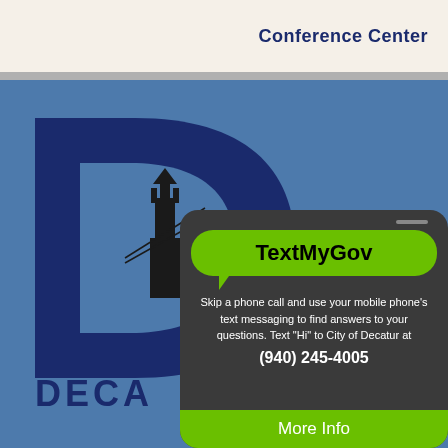Conference Center
[Figure (logo): City of Decatur logo — large dark blue letter D with a city tower/clock tower silhouette inside, text DECATUR below]
[Figure (infographic): TextMyGov promotional card on dark phone background. Green speech bubble with 'TextMyGov'. Text: Skip a phone call and use your mobile phone's text messaging to find answers to your questions. Text "Hi" to City of Decatur at (940) 245-4005. Green More Info button at bottom.]
Skip a phone call and use your mobile phone's text messaging to find answers to your questions. Text "Hi" to City of Decatur at (940) 245-4005
More Info